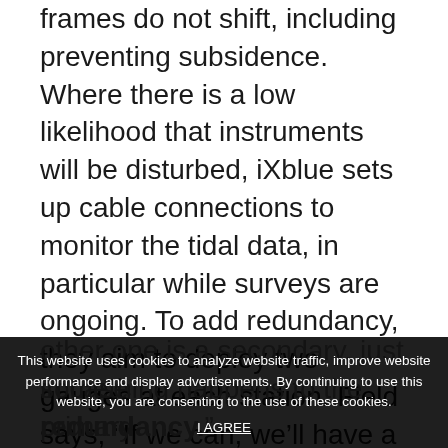frames do not shift, including preventing subsidence. Where there is a low likelihood that instruments will be disturbed, iXblue sets up cable connections to monitor the tidal data, in particular while surveys are ongoing. To add redundancy, they aim to deploy two gauges at each station. Field says, “If we can, we’ll have a download cable on one. The other one is a secondary, just in case something happens to the primary one, or any of the computers miss the data that comes through. It’s just for redundancy.”
This website uses cookies to analyze website traffic, improve website performance and display advertisements. By continuing to use this website, you are consenting to the use of these cookies.
I AGREE